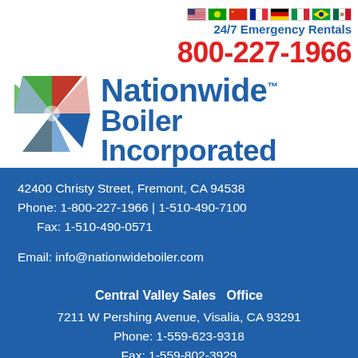[Figure (logo): Row of international flag icons (USA, Middle East, China, France, Germany, Italy, Brazil, Mexico)]
24/7 Emergency Rentals
800-227-1966
[Figure (logo): Nationwide Boiler Incorporated logo with geometric pinwheel in red, green, blue, grey segments and company name in blue text. Tagline: Boiler Rentals & Sales • Environmental Solutions • Control Solutions]
42400 Christy Street, Fremont, CA 94538
Phone: 1-800-227-1966 | 1-510-490-7100
Fax: 1-510-490-0571
Email: info@nationwideboiler.com
Central Valley Sales  Office
7211 W Pershing Avenue, Visalia, CA 93291
Phone: 1-559-623-9318
Fax: 1-559-802-3929